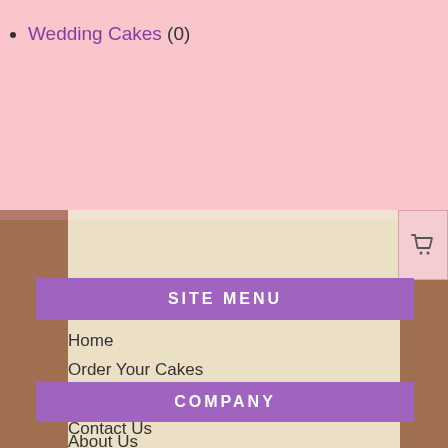Wedding Cakes (0)
[Figure (illustration): Background with cake illustrations on sides and parchment texture in center, with pink top section]
SITE MENU
Home
Order Your Cakes
91.3FM Birthday Cakes
Contact Us
Account
COMPANY
About Us
Stay In Touch